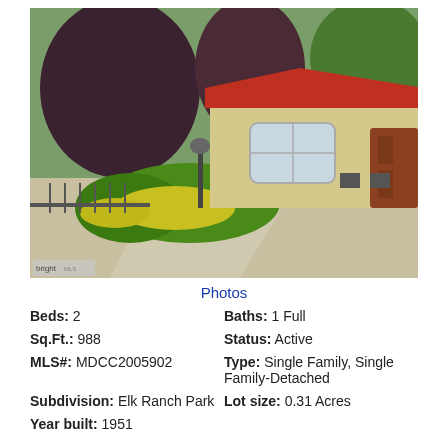[Figure (photo): Exterior photo of a small single-family home with a red metal roof and yellow stucco walls, surrounded by large dark-leafed trees and green bushes with yellow flowers. A concrete driveway is visible in the foreground. A 'bright mls' watermark appears in the bottom-left corner.]
Photos
Beds: 2   Baths: 1 Full
Sq.Ft.: 988   Status: Active
MLS#: MDCC2005902   Type: Single Family, Single Family-Detached
Subdivision: Elk Ranch Park   Lot size: 0.31 Acres
Year built: 1951